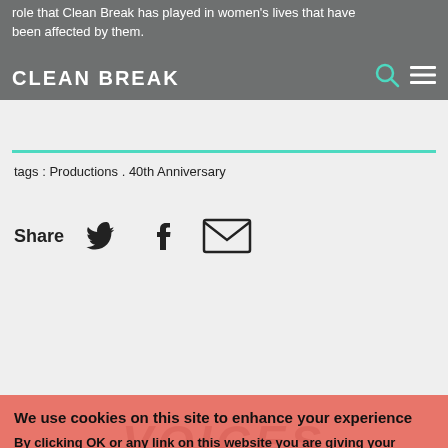role that Clean Break has played in women's lives that have been affected by them. CLEAN BREAK
tags : Productions . 40th Anniversary
Share
We use cookies on this site to enhance your experience
By clicking OK or any link on this website you are giving your consent for us to use cookies.
OK
No, tell me more